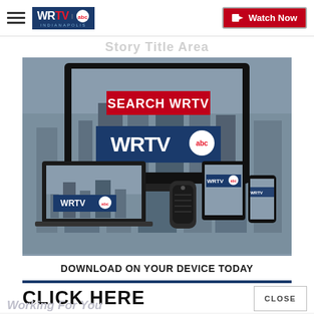WRTV Indianapolis - Watch Now
[Figure (screenshot): WRTV Indianapolis app promotional image showing TV, laptop, smart speaker, tablet, and phone devices with SEARCH WRTV red banner and WRTV abc logo, and 'DOWNLOAD ON YOUR DEVICE TODAY' text]
CLICK HERE
CLOSE
ADVERTISEMENT
Working For You